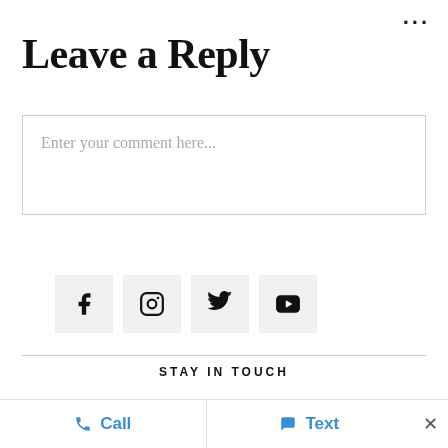•••
Leave a Reply
Enter your comment here...
[Figure (other): Social media icon buttons: Facebook, Instagram, Twitter, YouTube]
STAY IN TOUCH
Sign up to receive our monthly newsletter
Call   Text   ×